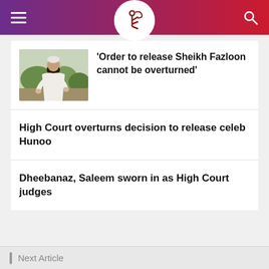Navigation bar with hamburger menu, logo, and search icon
'Order to release Sheikh Fazloon cannot be overturned'
High Court overturns decision to release celeb Hunoo
Dheebanaz, Saleem sworn in as High Court judges
Next Article